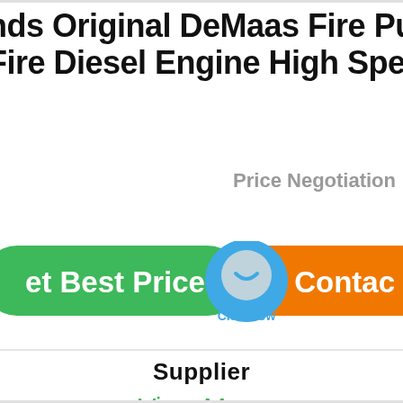nds Original DeMaas Fire Pump Fire Diesel Engine High Speed
Price Negotiation
[Figure (screenshot): Green 'Get Best Price' button, a blue chat bubble widget with 'Chat Now' label, and an orange 'Contact' button arranged horizontally]
Supplier
View More